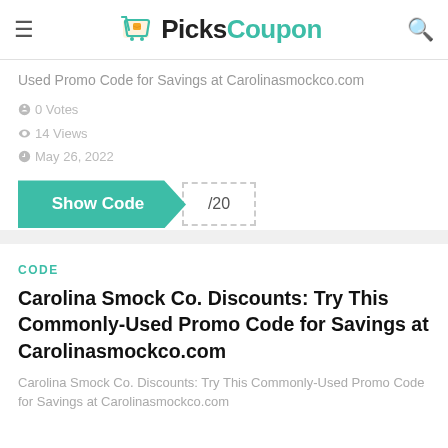PicksCoupon
Used Promo Code for Savings at Carolinasmockco.com
0 Votes
14 Views
May 26, 2022
[Figure (other): Show Code button with teal background and dashed code reveal area showing /20]
CODE
Carolina Smock Co. Discounts: Try This Commonly-Used Promo Code for Savings at Carolinasmockco.com
Carolina Smock Co. Discounts: Try This Commonly-Used Promo Code for Savings at Carolinasmockco.com